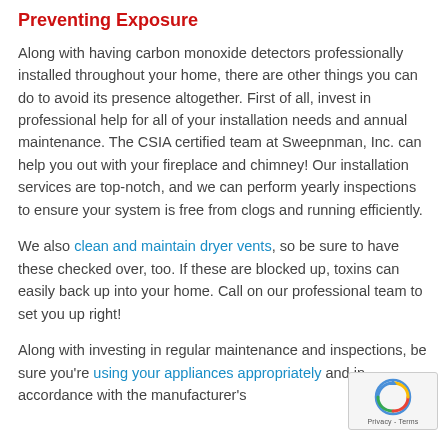Preventing Exposure
Along with having carbon monoxide detectors professionally installed throughout your home, there are other things you can do to avoid its presence altogether. First of all, invest in professional help for all of your installation needs and annual maintenance. The CSIA certified team at Sweepnman, Inc. can help you out with your fireplace and chimney! Our installation services are top-notch, and we can perform yearly inspections to ensure your system is free from clogs and running efficiently.
We also clean and maintain dryer vents, so be sure to have these checked over, too. If these are blocked up, toxins can easily back up into your home. Call on our professional team to set you up right!
Along with investing in regular maintenance and inspections, be sure you're using your appliances appropriately and in accordance with the manufacturer's